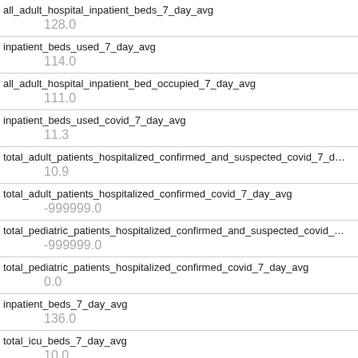| Field | Value |
| --- | --- |
| all_adult_hospital_inpatient_beds_7_day_avg | 128.0 |
| inpatient_beds_used_7_day_avg | 114.0 |
| all_adult_hospital_inpatient_bed_occupied_7_day_avg | 111.0 |
| inpatient_beds_used_covid_7_day_avg | 11.3 |
| total_adult_patients_hospitalized_confirmed_and_suspected_covid_7_d… | 10.9 |
| total_adult_patients_hospitalized_confirmed_covid_7_day_avg | -999999.0 |
| total_pediatric_patients_hospitalized_confirmed_and_suspected_covid_… | -999999.0 |
| total_pediatric_patients_hospitalized_confirmed_covid_7_day_avg | 0.0 |
| inpatient_beds_7_day_avg | 136.0 |
| total_icu_beds_7_day_avg | 10.0 |
| total_staffed_adult_icu_beds_7_day_avg |  |